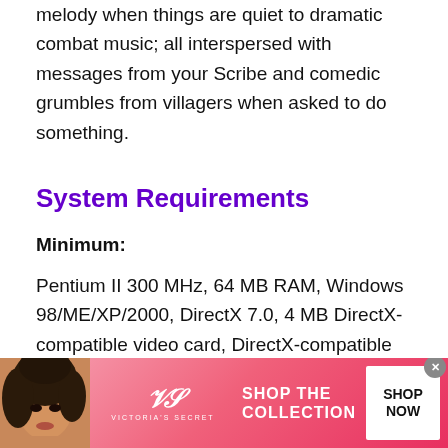melody when things are quiet to dramatic combat music; all interspersed with messages from your Scribe and comedic grumbles from villagers when asked to do something.
System Requirements
Minimum:
Pentium II 300 MHz, 64 MB RAM, Windows 98/ME/XP/2000, DirectX 7.0, 4 MB DirectX-compatible video card, DirectX-compatible
[Figure (photo): Victoria's Secret advertisement banner with a woman model, VS logo, 'SHOP THE COLLECTION' text, and a white 'SHOP NOW' button]